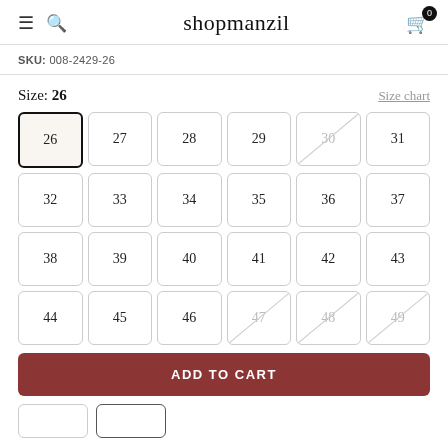shopmanzil
SKU: 008-2429-26
Size: 26
Size chart
26 27 28 29 30 31 32 33 34 35 36 37 38 39 40 41 42 43 44 45 46 47 48 49
ADD TO CART